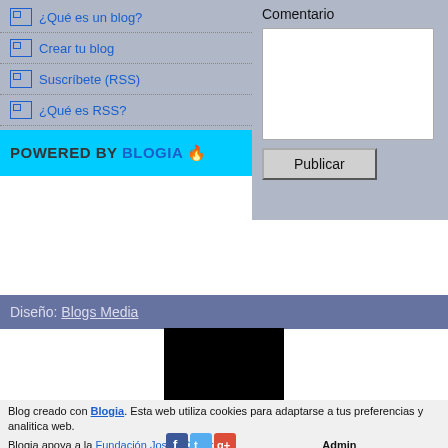¿Qué es un blog?
Crear tu blog
Suscríbete (RSS)
¿Qué es RSS?
POWERED BY BLOGIA 🔥
Comentario
Publicar
Diseño: Blogs Media
[Figure (other): Black counter widget box]
Contador de visitas diseño Web precio
Blog creado con Blogia. Esta web utiliza cookies para adaptarse a tus preferencias y analitica web. Blogia apoya a la Fundación Josep Carreras.
Admin